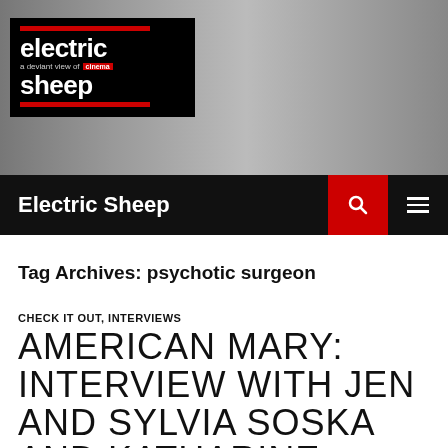[Figure (photo): Black and white header image of a person in white clothing, Electric Sheep magazine logo overlaid on left side]
Electric Sheep
Tag Archives: psychotic surgeon
CHECK IT OUT, INTERVIEWS
AMERICAN MARY: INTERVIEW WITH JEN AND SYLVIA SOSKA AND KATHARINE ISABELLE
JANUARY 11, 2013   VIRGINIESELAVY